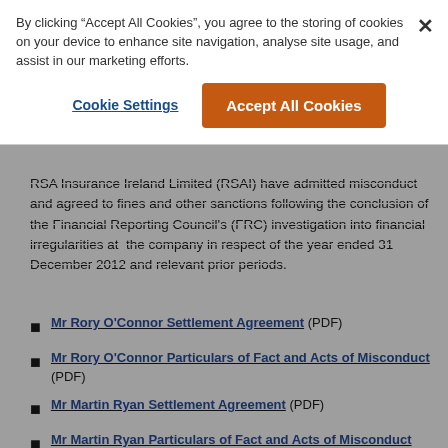By clicking “Accept All Cookies”, you agree to the storing of cookies on your device to enhance site navigation, analyse site usage, and assist in our marketing efforts.
Cookie Settings
Accept All Cookies
RSA Insurance Ireland Limited (RSAI) have admitted misconduct and agreed to fines and other sanctions following the conclusion of the Financial Reporting Council's (FRC) investigation into financial irregularities at the company in respect of the year ended 31 December 2012 and relevant prior periods.
Mr Rory O’Connor Settlement Agreement (PDF)
Mr Rory O’Connor Particulars of Fact and Acts of Misconduct (PDF)
Mr Martin Ryan Settlement Agreement (PDF)
Mr Martin Ryan Particulars of Fact and Acts of Misconduct (PDF)